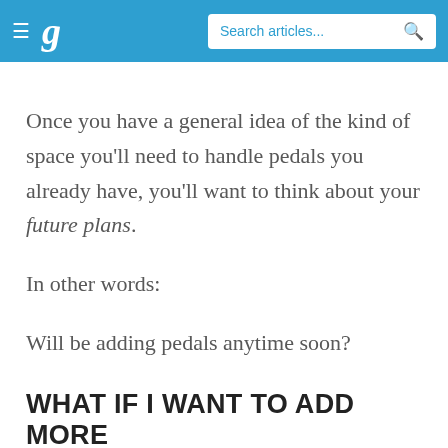g  Search articles...
Once you have a general idea of the kind of space you'll need to handle pedals you already have, you'll want to think about your future plans.
In other words:
Will be adding pedals anytime soon?
WHAT IF I WANT TO ADD MORE PEDALS IN THE FUTURE?